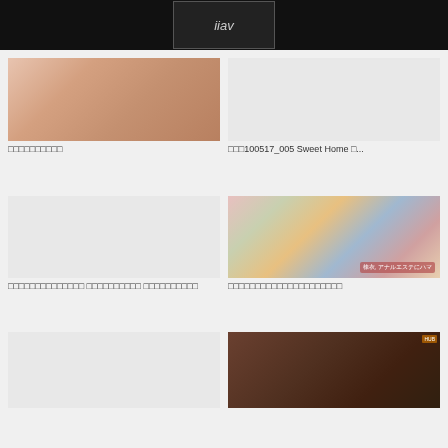iiav
[Figure (photo): Skin-tone colored photo placeholder, top left card]
□□□□□□□□□□
[Figure (photo): Gray placeholder, top right card]
□□□100517_005 Sweet Home □...
[Figure (photo): Gray placeholder, middle left card]
□□□□□□□□□□□□□□ □□□□□□□□□□ □□□□□□□□□□
[Figure (photo): Colorful swimsuit photo on checkered background, middle right card]
□□□□□□□□□□□□□□□□□□□□□
[Figure (photo): Gray placeholder, bottom left card]
[Figure (photo): Dark close-up photo, bottom right card]